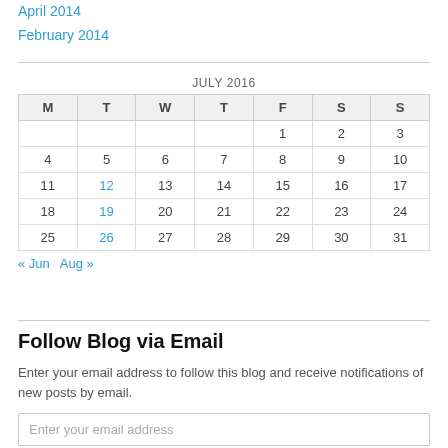April 2014
February 2014
| M | T | W | T | F | S | S |
| --- | --- | --- | --- | --- | --- | --- |
|  |  |  |  | 1 | 2 | 3 |
| 4 | 5 | 6 | 7 | 8 | 9 | 10 |
| 11 | 12 | 13 | 14 | 15 | 16 | 17 |
| 18 | 19 | 20 | 21 | 22 | 23 | 24 |
| 25 | 26 | 27 | 28 | 29 | 30 | 31 |
« Jun   Aug »
Follow Blog via Email
Enter your email address to follow this blog and receive notifications of new posts by email.
Enter your email address